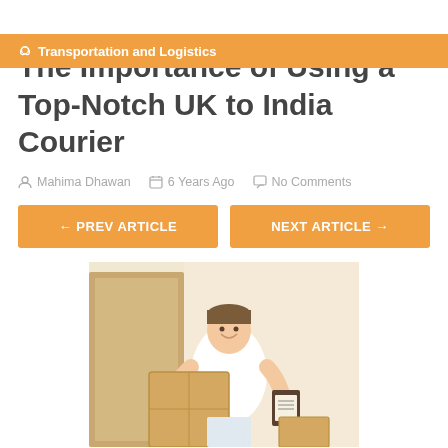Transportation and Logistics
The Importance of Using a Top-Notch UK to India Courier
Mahima Dhawan   6 Years Ago   No Comments
← PREV ARTICLE   NEXT ARTICLE →
[Figure (photo): A young man in a white t-shirt carrying cardboard boxes, smiling at the camera, with a clipboard in one hand, standing in front of a beige background with a door.]